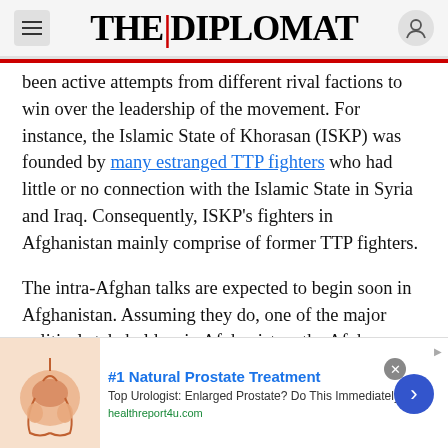THE | DIPLOMAT
been active attempts from different rival factions to win over the leadership of the movement. For instance, the Islamic State of Khorasan (ISKP) was founded by many estranged TTP fighters who had little or no connection with the Islamic State in Syria and Iraq. Consequently, ISKP’s fighters in Afghanistan mainly comprise of former TTP fighters.
The intra-Afghan talks are expected to begin soon in Afghanistan. Assuming they do, one of the major political stakeholders in Afghanistan, the Afghan Taliban, is likely to come out with major gains from the talks. These likely gains may see the group back
[Figure (infographic): Advertisement banner: #1 Natural Prostate Treatment. Top Urologist: Enlarged Prostate? Do This Immediately! healthreport4u.com. Shows anatomical illustration of prostate.]